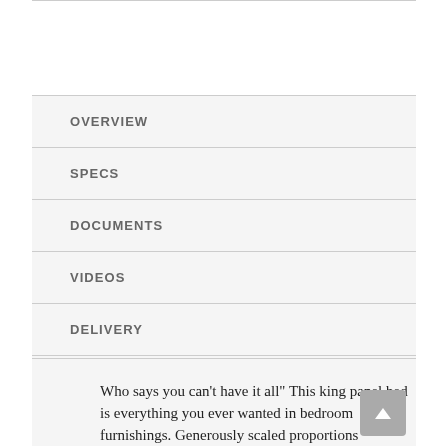OVERVIEW
SPECS
DOCUMENTS
VIDEOS
DELIVERY
WARRANTY
Who says you can't have it all" This king panel bed is everything you ever wanted in bedroom furnishings. Generously scaled proportions